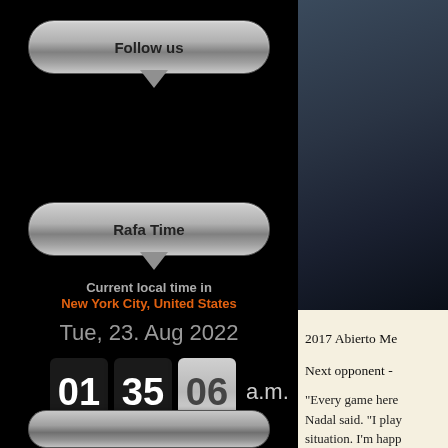Follow us
Rafa Time
Current local time in
New York City, United States
Tue, 23. Aug 2022
01 35 06 a.m.
2017 Abierto Me
Next opponent -
“Every game here Nadal said. “I play situation. I’m happ